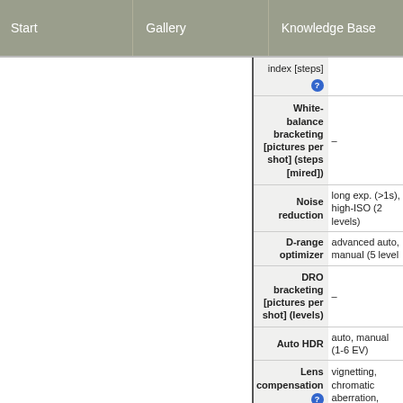Start | Gallery | Knowledge Base
| Feature | Value |
| --- | --- |
| index [steps] ? |  |
| White-balance bracketing [pictures per shot] (steps [mired]) | – |
| Noise reduction | long exp. (>1s), high-ISO (2 levels) |
| D-range optimizer | advanced auto, manual (5 levels) |
| DRO bracketing [pictures per shot] (levels) | – |
| Auto HDR | auto, manual (1-6 EV) |
| Lens compensation ? | vignetting, chromatic aberration, |